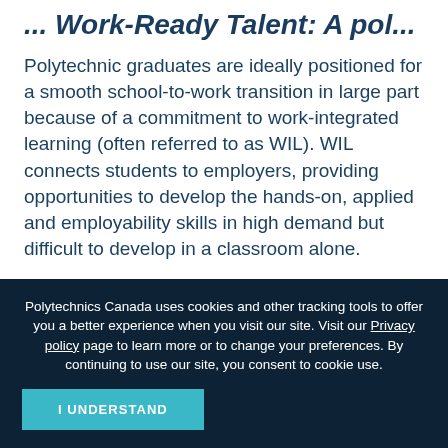...Work-Ready Talent: A pol...
Polytechnic graduates are ideally positioned for a smooth school-to-work transition in large part because of a commitment to work-integrated learning (often referred to as WIL). WIL connects students to employers, providing opportunities to develop the hands-on, applied and employability skills in high demand but difficult to develop in a classroom alone.
Polytechnics Canada uses cookies and other tracking tools to offer you a better experience when you visit our site. Visit our Privacy policy page to learn more or to change your preferences. By continuing to use our site, you consent to cookie use.
I UNDERSTAND